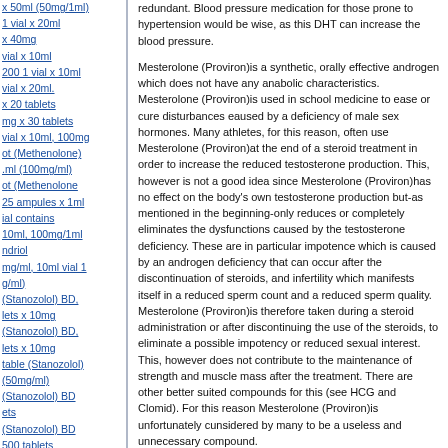x 50ml (50mg/1ml) 1 vial x 20ml
x 40mg vial x 10ml
200 1 vial x 10ml
vial x 20ml.
x 20 tablets mg x 30 tablets vial x 10ml, 100mg
ot (Methenolone) .ml (100mg/ml) ot (Methenolone 25 ampules x 1ml
ial contains 10ml, 100mg/1ml ndriol mg/ml, 10ml vial 1 g/ml) (Stanozolol) BD, lets x 10mg (Stanozolol) BD, lets x 10mg table (Stanozolol) (50mg/ml) (Stanozolol) BD ets (Stanozolol) BD 500 tablets (Stanozolol) C&K ets tanozolol) 5mg x
zolol) 50mg/ml. 20ml, 50mg/ml
redundant. Blood pressure medication for those prone to hypertension would be wise, as this DHT can increase the blood pressure.
Mesterolone (Proviron)is a synthetic, orally effective androgen which does not have any anabolic characteristics. Mesterolone (Proviron)is used in school medicine to ease or cure disturbances eaused by a deficiency of male sex hormones. Many athletes, for this reason, often use Mesterolone (Proviron)at the end of a steroid treatment in order to increase the reduced testosterone production. This, however is not a good idea since Mesterolone (Proviron)has no effect on the body's own testosterone production but-as mentioned in the beginning-only reduces or completely eliminates the dysfunctions caused by the testosterone deficiency. These are in particular impotence which is caused by an androgen deficiency that can occur after the discontinuation of steroids, and infertility which manifests itself in a reduced sperm count and a reduced sperm quality. Mesterolone (Proviron)is therefore taken during a steroid administration or after discontinuing the use of the steroids, to eliminate a possible impotency or reduced sexual interest. This, however does not contribute to the maintenance of strength and muscle mass after the treatment. There are other better suited compounds for this (see HCG and Clomid). For this reason Mesterolone (Proviron)is unfortunately cunsidered by many to be a useless and unnecessary compound.
You should be aware that Mesterolone (Proviron)is also an estrogen antagonist which prevents the aromatization of steroids. Unlike the antiestrogen Nolvadex which only blocks the estrogen receptors (see Nolvadex) Mesterolone (Proviron)already prevents the aromatizing of steroids. Therefore gynecomastia and increased water retention are successfully blocked. Since Mesterolone (Proviron)strongly suppresses the forming of estrogens no rebound effect occurs after discontinuation of use of the compound as is the case with, for example, Nolvadex where an aromatization of the steroids is not prevented. One can say that Nolvadex cures the problem of aromatization at its root while Nolvadex only cures the symptoms. For this reason male athletes should